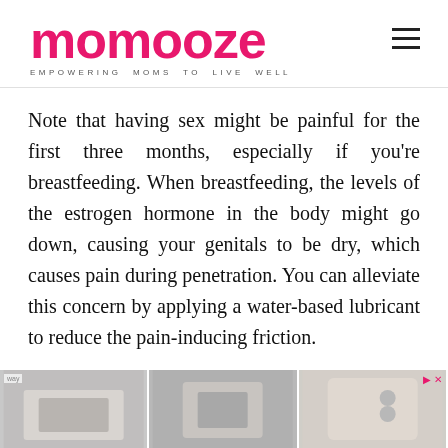momooze — EMPOWERING MOMS TO LIVE WELL
Note that having sex might be painful for the first three months, especially if you're breastfeeding. When breastfeeding, the levels of the estrogen hormone in the body might go down, causing your genitals to be dry, which causes pain during penetration. You can alleviate this concern by applying a water-based lubricant to reduce the pain-inducing friction.
[Figure (photo): Advertisement strip at bottom with three product images]